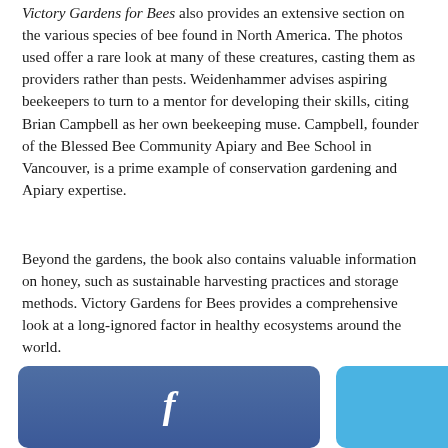Victory Gardens for Bees also provides an extensive section on the various species of bee found in North America. The photos used offer a rare look at many of these creatures, casting them as providers rather than pests. Weidenhammer advises aspiring beekeepers to turn to a mentor for developing their skills, citing Brian Campbell as her own beekeeping muse. Campbell, founder of the Blessed Bee Community Apiary and Bee School in Vancouver, is a prime example of conservation gardening and Apiary expertise.
Beyond the gardens, the book also contains valuable information on honey, such as sustainable harvesting practices and storage methods. Victory Gardens for Bees provides a comprehensive look at a long-ignored factor in healthy ecosystems around the world.
BOOKS:
Victory Gardens for Bees: A DIY Guide to Saving the Bees (Douglas & McIntyre 2016) 978-1-77162-053-6.
[Figure (other): Three social sharing buttons: Facebook (blue-grey), Twitter (blue), and Email (green) with icons]